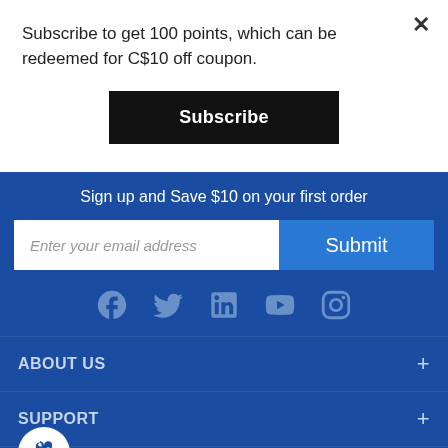Subscribe to get 100 points, which can be redeemed for C$10 off coupon.
×
Subscribe
Sign up and Save $10 on your first order
Enter your email address
Submit
ABOUT US
SUPPORT
PRODUCTS